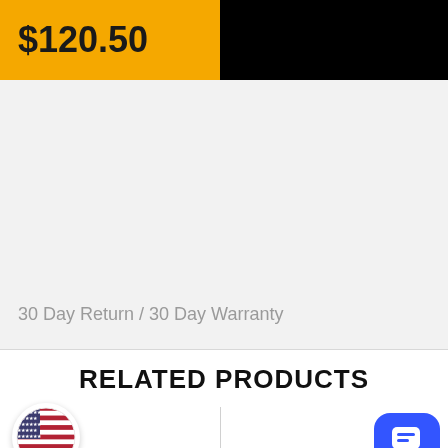$120.50
30 Day Return / 30 Day Warranty
RELATED PRODUCTS
[Figure (illustration): US flag circular icon at bottom left and blue chat bubble icon at bottom right, with a vertical divider line in the middle]